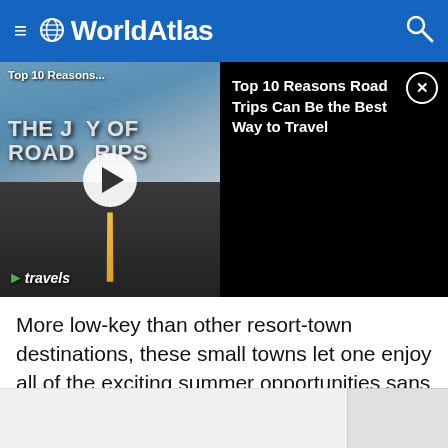≡ 🌐 WorldAtlas
[Figure (screenshot): Video thumbnail of road trip documentary titled 'THE JOY OF ROAD TRIPS' with play button overlay and Travels branding. Left half shows scenic road image. Right half shows black panel with text 'Top 10 Reasons Road Trips Can Be the Best Way to Travel' and close button.]
More low-key than other resort-town destinations, these small towns let one enjoy all of the exciting summer opportunities sans the crowds that mar the scenic views. Offering respite, one is sure to find a private beach spot, leisurely browse the local produce markets, and get a table at a great restaurant without jostling during a wholesome